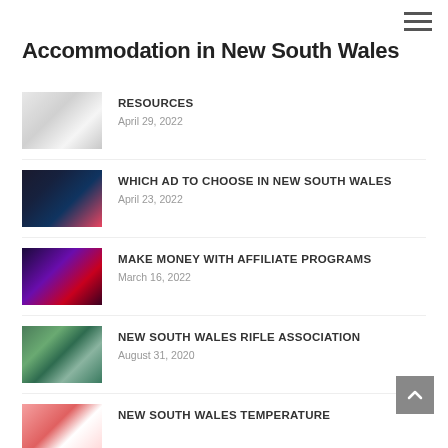≡
Accommodation in New South Wales
RESOURCES
April 29, 2022
WHICH AD TO CHOOSE IN NEW SOUTH WALES
April 23, 2022
MAKE MONEY WITH AFFILIATE PROGRAMS
March 16, 2022
NEW SOUTH WALES RIFLE ASSOCIATION
August 31, 2020
NEW SOUTH WALES TEMPERATURE